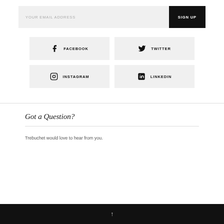YOUR EMAIL ADDRESS
SIGN UP
FACEBOOK
TWITTER
INSTAGRAM
LINKEDIN
Got a Question?
Trebuchet would love to hear from you.
↑